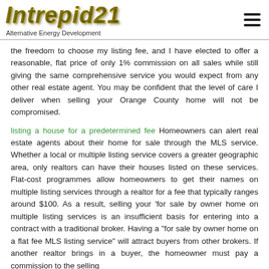Intrepid21 - Alternative Energy Development
the freedom to choose my listing fee, and I have elected to offer a reasonable, flat price of only 1% commission on all sales while still giving the same comprehensive service you would expect from any other real estate agent. You may be confident that the level of care I deliver when selling your Orange County home will not be compromised.
listing a house for a predetermined fee Homeowners can alert real estate agents about their home for sale through the MLS service. Whether a local or multiple listing service covers a greater geographic area, only realtors can have their houses listed on these services. Flat-cost programmes allow homeowners to get their names on multiple listing services through a realtor for a fee that typically ranges around $100. As a result, selling your 'for sale by owner home on multiple listing services is an insufficient basis for entering into a contract with a traditional broker. Having a "for sale by owner home on a flat fee MLS listing service" will attract buyers from other brokers. If another realtor brings in a buyer, the homeowner must pay a commission to the selling